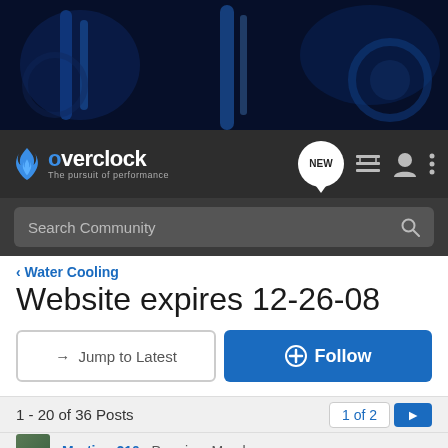[Figure (photo): Banner image of water cooling PC components with blue liquid cooling tubes, radiators, and PC hardware parts with blue lighting on dark background]
overclock - The pursuit of performance — navigation bar with NEW badge, list icon, user icon, and menu icon
Search Community
< Water Cooling
Website expires 12-26-08
→ Jump to Latest
+ Follow
1 - 20 of 36 Posts
1 of 2
Martinm210 · Premium Member